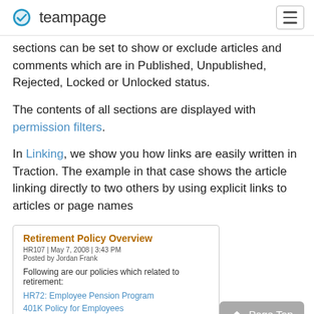teampage
sections can be set to show or exclude articles and comments which are in Published, Unpublished, Rejected, Locked or Unlocked status.
The contents of all sections are displayed with permission filters.
In Linking, we show you how links are easily written in Traction. The example in that case shows the article linking directly to two others by using explicit links to articles or page names
[Figure (screenshot): Embedded article box showing 'Retirement Policy Overview' with metadata HR107 | May 7, 2008 | 3:43 PM, Posted by Jordan Frank, with links HR72: Employee Pension Program and 401K Policy for Employees, and footer text 'In case you are interested in all policies, click here.']